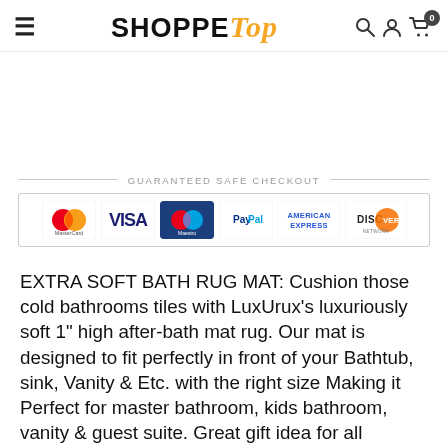SHOPPE Top — navigation header with hamburger menu, logo, search, user, and cart icons
[Figure (infographic): Guaranteed Safe Checkout banner with payment method logos: MasterCard, VISA, Maestro, PayPal, American Express, Discover]
EXTRA SOFT BATH RUG MAT: Cushion those cold bathrooms tiles with LuxUrux's luxuriously soft 1" high after-bath mat rug. Our mat is designed to fit perfectly in front of your Bathtub, sink, Vanity & Etc. with the right size Making it Perfect for master bathroom, kids bathroom, vanity & guest suite. Great gift idea for all